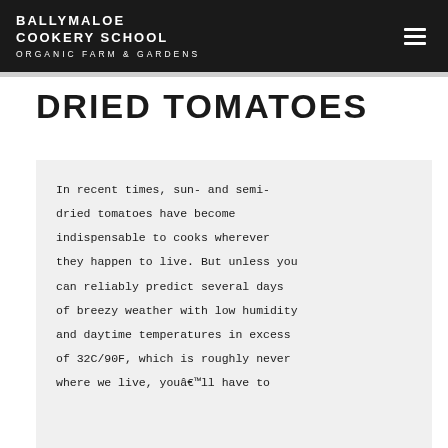BALLYMALOE COOKERY SCHOOL ORGANIC FARM & GARDENS
DRIED TOMATOES
In recent times, sun- and semi-dried tomatoes have become indispensable to cooks wherever they happen to live. But unless you can reliably predict several days of breezy weather with low humidity and daytime temperatures in excess of 32C/90F, which is roughly never where we live, youâ€™ll have to